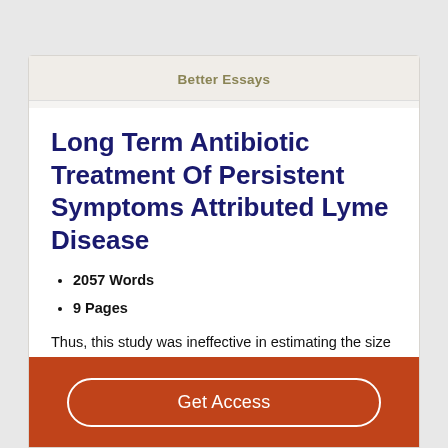Better Essays
Long Term Antibiotic Treatment Of Persistent Symptoms Attributed Lyme Disease
2057 Words
9 Pages
Thus, this study was ineffective in estimating the size of the treatment effect. In addition, the authors indicate that previous trials did not account for baseline difference in the
Get Access